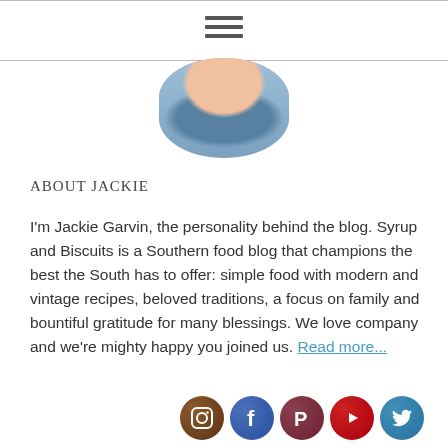[Figure (photo): Hamburger/menu navigation icon with three horizontal bars]
[Figure (photo): Circular profile photo of Jackie Garvin, partially cropped at top, showing face and denim top]
ABOUT JACKIE
I'm Jackie Garvin, the personality behind the blog. Syrup and Biscuits is a Southern food blog that champions the best the South has to offer: simple food with modern and vintage recipes, beloved traditions, a focus on family and bountiful gratitude for many blessings. We love company and we're mighty happy you joined us. Read more...
[Figure (other): Row of five circular social media icons: Instagram (brown), Facebook (blue), Pinterest (dark red), YouTube (red), Twitter (light blue)]